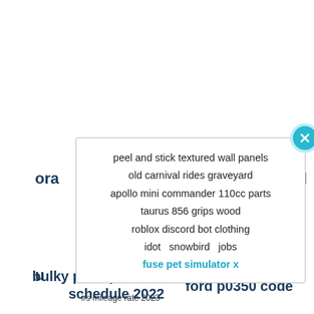ora
cel
[Figure (screenshot): A modal/popup overlay on a webpage showing a list of search suggestions: peel and stick textured wall panels, old carnival rides graveyard, apollo mini commander 110cc parts, taurus 856 grips wood, roblox discord bot clothing, idot snowbird jobs, fuse pet simulator x (highlighted in teal). A teal close button (X) appears in the top-right corner of the modal.]
u
022
irs mileage rate 2023
bulky pickup san antonio schedule 2022
ford p0350 code